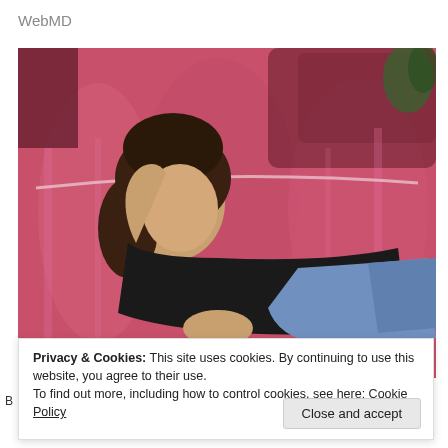WebMD
[Figure (photo): A young woman with dark curly hair wearing a black top and jeans, reclining on a shiny pink/magenta sofa or couch.]
Privacy & Cookies: This site uses cookies. By continuing to use this website, you agree to their use.
To find out more, including how to control cookies, see here: Cookie Policy
Close and accept